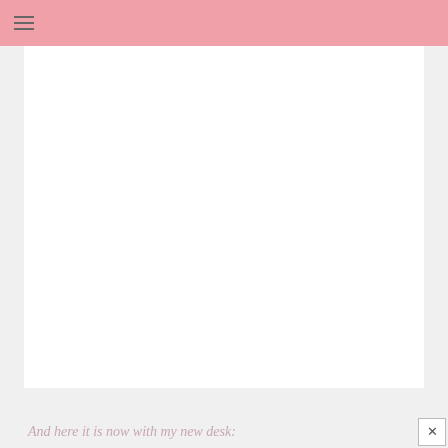≡
[Figure (photo): A large white/blank photograph area, appearing to show a room or desk scene that is mostly white]
And here it is now with my new desk: